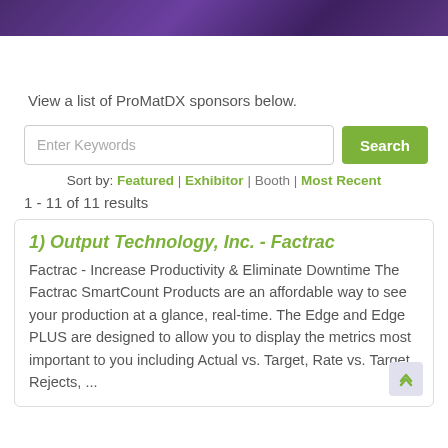View a list of ProMatDX sponsors below.
Enter Keywords | Search
Sort by: Featured | Exhibitor | Booth | Most Recent
1 - 11 of 11 results
1) Output Technology, Inc. - Factrac
Factrac - Increase Productivity & Eliminate Downtime The Factrac SmartCount Products are an affordable way to see your production at a glance, real-time. The Edge and Edge PLUS are designed to allow you to display the metrics most important to you including Actual vs. Target, Rate vs. Target, Rejects, ...